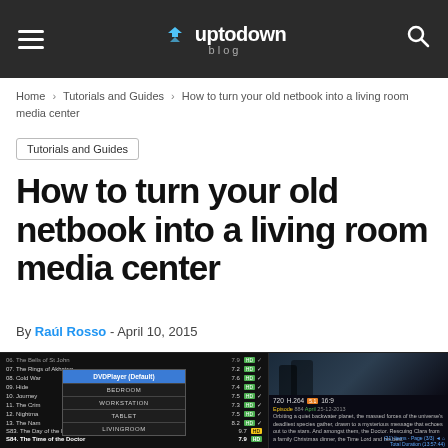uptodown blog
Home > Tutorials and Guides > How to turn your old netbook into a living room media center
Tutorials and Guides
How to turn your old netbook into a living room media center
By Raúl Rosso - April 10, 2015
[Figure (screenshot): Screenshot of a media center application showing a TV show list with a dropdown menu for player selection (DVDPlayer Default, BEDROOM, WORKSTATION, TABLET, LIVINGROOM) and a right panel showing a Doctor Who episode with description and technical details (720, H.264, 5.1, 16:9).]